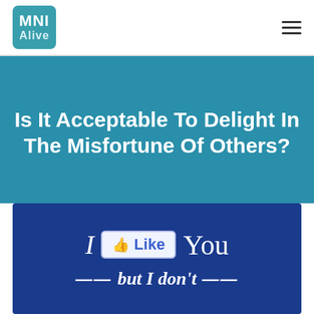MNI Alive
Is It Acceptable To Delight In The Misfortune Of Others?
[Figure (illustration): Dark blue banner showing 'I [Like button] You — but I don't —' text, resembling a Facebook Like button meme graphic]